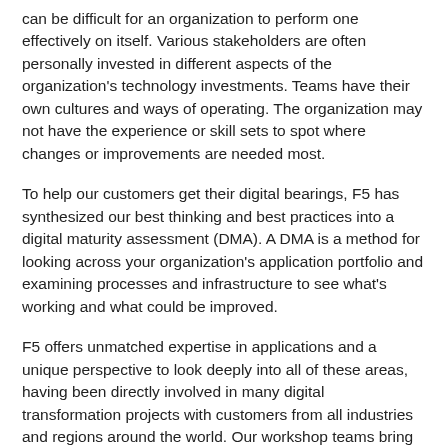can be difficult for an organization to perform one effectively on itself. Various stakeholders are often personally invested in different aspects of the organization's technology investments. Teams have their own cultures and ways of operating. The organization may not have the experience or skill sets to spot where changes or improvements are needed most.
To help our customers get their digital bearings, F5 has synthesized our best thinking and best practices into a digital maturity assessment (DMA). A DMA is a method for looking across your organization's application portfolio and examining processes and infrastructure to see what's working and what could be improved.
F5 offers unmatched expertise in applications and a unique perspective to look deeply into all of these areas, having been directly involved in many digital transformation projects with customers from all industries and regions around the world. Our workshop teams bring that breadth of skill and depth of practical experience to each assessment session.